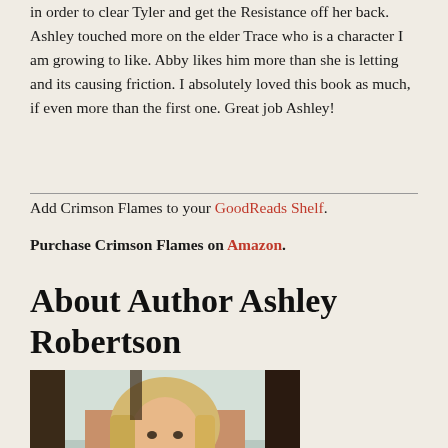in order to clear Tyler and get the Resistance off her back. Ashley touched more on the elder Trace who is a character I am growing to like. Abby likes him more than she is letting and its causing friction. I absolutely loved this book as much, if even more than the first one. Great job Ashley!
Add Crimson Flames to your GoodReads Shelf.
Purchase Crimson Flames on Amazon.
About Author Ashley Robertson
[Figure (photo): Author photo of Ashley Robertson - a blonde woman smiling at the camera, photographed in front of a dark wooden door or railing with a light background]